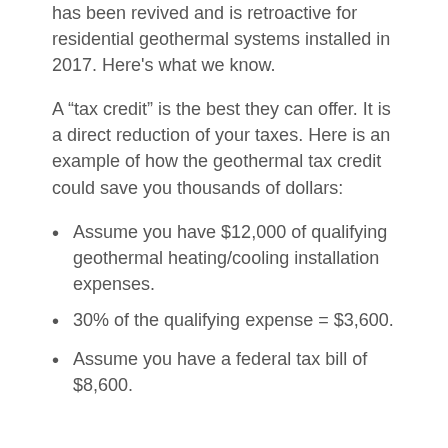has been revived and is retroactive for residential geothermal systems installed in 2017. Here’s what we know.
A “tax credit” is the best they can offer. It is a direct reduction of your taxes. Here is an example of how the geothermal tax credit could save you thousands of dollars:
Assume you have $12,000 of qualifying geothermal heating/cooling installation expenses.
30% of the qualifying expense = $3,600.
Assume you have a federal tax bill of $8,600.